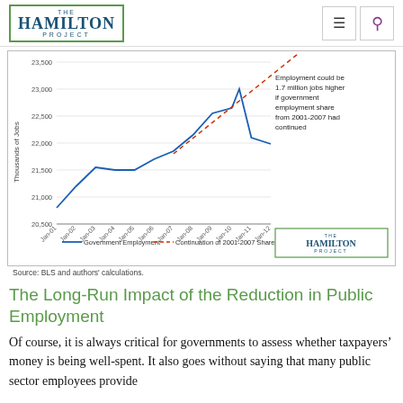THE HAMILTON PROJECT
[Figure (line-chart): Line chart showing government employment (thousands of jobs) from Jan-01 to Jan-12, peaking around Jan-10, then declining. A dashed trend line shows what employment could have been if the 2001-2007 share had continued, reaching about 1.7 million jobs higher by Jan-12.]
Source: BLS and authors' calculations.
The Long-Run Impact of the Reduction in Public Employment
Of course, it is always critical for governments to assess whether taxpayers' money is being well-spent. It also goes without saying that many public sector employees provide